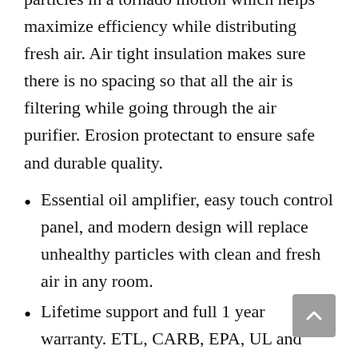particles in a tornado motion which helps maximize efficiency while distributing fresh air. Air tight insulation makes sure there is no spacing so that all the air is filtering while going through the air purifier. Erosion protectant to ensure safe and durable quality.
Essential oil amplifier, easy touch control panel, and modern design will replace unhealthy particles with clean and fresh air in any room.
Lifetime support and full 1 year warranty. ETL, CARB, EPA, UL and